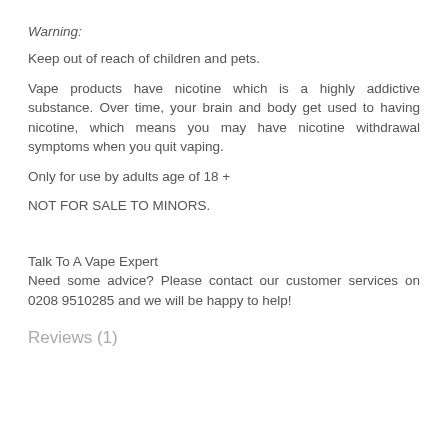Warning:
Keep out of reach of children and pets.
Vape products have nicotine which is a highly addictive substance. Over time, your brain and body get used to having nicotine, which means you may have nicotine withdrawal symptoms when you quit vaping.
Only for use by adults age of 18 +
NOT FOR SALE TO MINORS.
Talk To A Vape Expert
Need some advice? Please contact our customer services on 0208 9510285 and we will be happy to help!
Reviews (1)